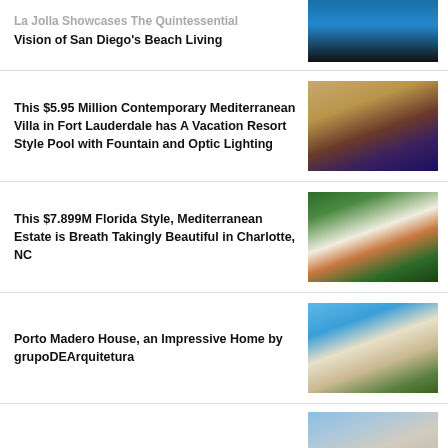La Jolla Showcases The Quintessential Vision of San Diego's Beach Living
[Figure (photo): Aerial or pool view of a luxury beach home in San Diego with blue pool water and modern architecture]
This $5.95 Million Contemporary Mediterranean Villa in Fort Lauderdale has A Vacation Resort Style Pool with Fountain and Optic Lighting
[Figure (photo): Front view of a grand Mediterranean villa with large columns and a pool at night with purple/blue lighting]
This $7.899M Florida Style, Mediterranean Estate is Breath Takingly Beautiful in Charlotte, NC
[Figure (photo): Aerial view of a large white Mediterranean estate surrounded by lush green trees in Charlotte NC]
Porto Madero House, an Impressive Home by grupoDEArquitetura
[Figure (photo): Modern minimalist home with horizontal wood slats and white concrete, blue sky background]
[Figure (photo): Partial view of another luxury property at the bottom of the page]